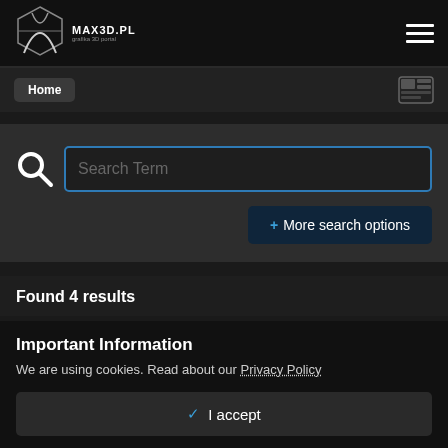MAX3D.PL
Home
Search Term
+ More search options
Found 4 results
Important Information
We are using cookies. Read about our Privacy Policy
✓ I accept